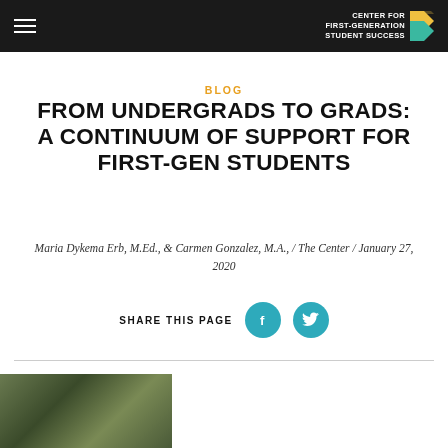CENTER FOR FIRST-GENERATION STUDENT SUCCESS
BLOG
FROM UNDERGRADS TO GRADS: A CONTINUUM OF SUPPORT FOR FIRST-GEN STUDENTS
Maria Dykema Erb, M.Ed., & Carmen Gonzalez, M.A., / The Center / January 27, 2020
SHARE THIS PAGE
[Figure (photo): Partial view of a photo at the bottom of the page showing an outdoor scene with green foliage]